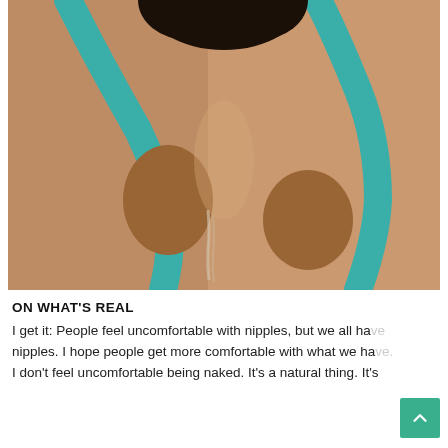[Figure (photo): Close-up photo of a woman's torso holding a teal/turquoise pool noodle or hose, water dripping, outdoors in sunlight]
ON WHAT'S REAL
I get it: People feel uncomfortable with nipples, but we all have nipples. I hope people get more comfortable with what we have. I don't feel uncomfortable being naked. It's a natural thing. It's